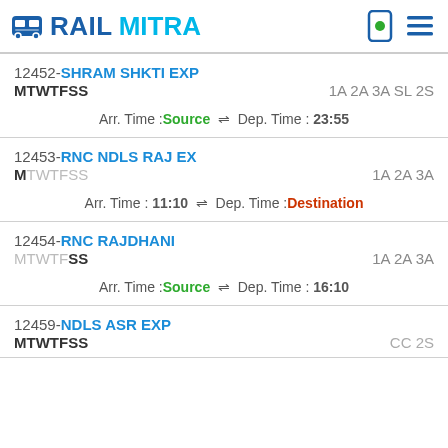RAILMITRA
12452-SHRAM SHKTI EXP | MTWTFSS | 1A 2A 3A SL 2S | Arr. Time : Source ⇌ Dep. Time : 23:55
12453-RNC NDLS RAJ EX | M | 1A 2A 3A | Arr. Time : 11:10 ⇌ Dep. Time : Destination
12454-RNC RAJDHANI | SS | 1A 2A 3A | Arr. Time : Source ⇌ Dep. Time : 16:10
12459-NDLS ASR EXP | MTWTFSS | CC 2S